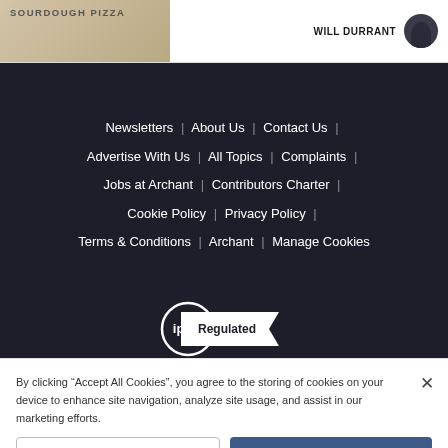[Figure (screenshot): Top strip showing a sourdough pizza image on the left and author 'WILL DURRANT' with avatar on the right]
Newsletters | About Us | Contact Us | Advertise With Us | All Topics | Complaints | Jobs at Archant | Contributors Charter | Cookie Policy | Privacy Policy | Terms & Conditions | Archant | Manage Cookies
[Figure (logo): IPSO Regulated badge with circle logo and ribbon banner]
By clicking "Accept All Cookies", you agree to the storing of cookies on your device to enhance site navigation, analyze site usage, and assist in our marketing efforts.
Cookies Settings
Accept All Cookies